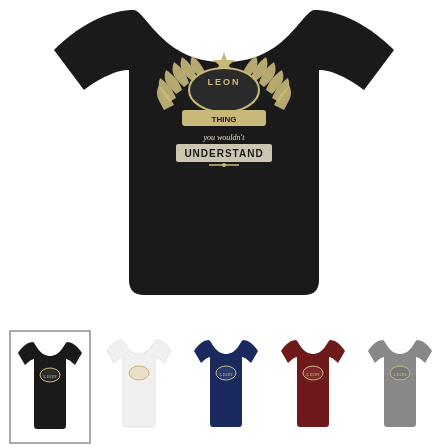[Figure (photo): Large black t-shirt with a decorative crest graphic reading 'THING YOU WOULDN'T UNDERSTAND' with laurel wreath design in cream/gold colors]
[Figure (photo): Color variant thumbnails of the same t-shirt design: black (selected), white, navy, dark red/maroon, and gray]